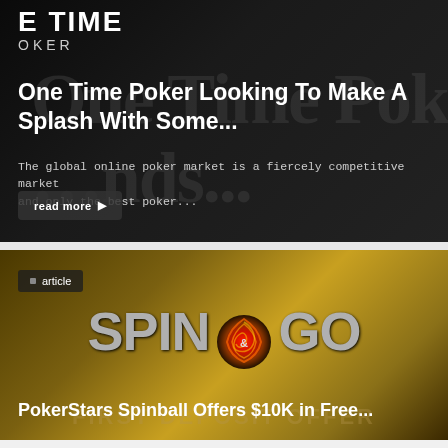[Figure (photo): Dark background card with 'E TIME OKER' logo text visible, showing One Time Poker article card]
One Time Poker Looking To Make A Splash With Some...
The global online poker market is a fiercely competitive market and only the best poker...
read more ▶
[Figure (photo): Spin & Go golden background card with swirl logo]
article
PokerStars Spinball Offers $10K in Free...